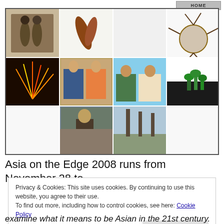[Figure (photo): A collage of multiple photos arranged in a grid, featuring sculptures, people working, plants, and artwork related to Asian culture and art.]
Asia on the Edge 2008 runs from November 28 to
Privacy & Cookies: This site uses cookies. By continuing to use this website, you agree to their use.
To find out more, including how to control cookies, see here: Cookie Policy
examine what it means to be Asian in the 21st century.